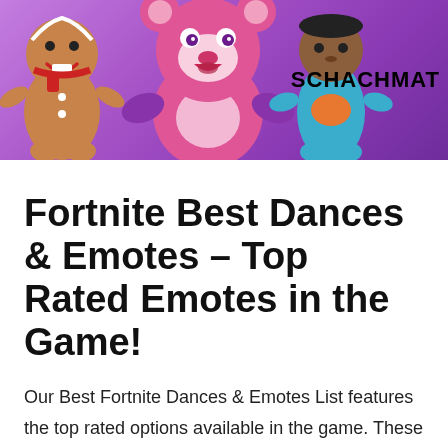[Figure (illustration): Fortnite game characters on a purple background: gingerbread man on left, large pink bear mascot in center, dark-skinned superhero on right. Text 'SCHACHMAT' visible on the right side.]
Fortnite Best Dances & Emotes – Top Rated Emotes in the Game!
Our Best Fortnite Dances & Emotes List features the top rated options available in the game. These dances and